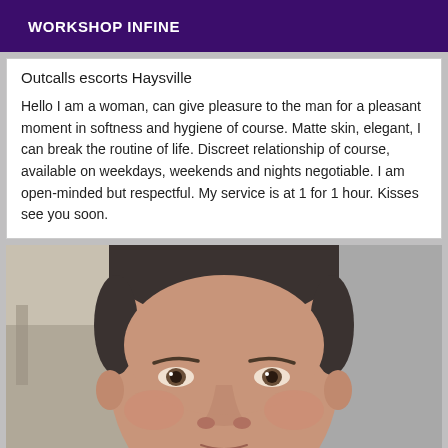WORKSHOP INFINE
Outcalls escorts Haysville
Hello I am a woman, can give pleasure to the man for a pleasant moment in softness and hygiene of course. Matte skin, elegant, I can break the routine of life. Discreet relationship of course, available on weekdays, weekends and nights negotiable. I am open-minded but respectful. My service is at 1 for 1 hour. Kisses see you soon.
[Figure (photo): Close-up photo of a middle-aged man's face with short dark hair, looking at the camera, against a light background.]